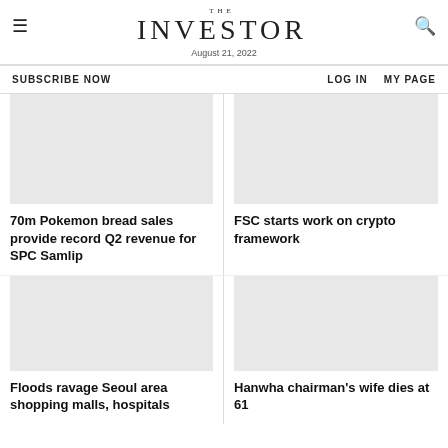THE INVESTOR — August 21, 2022
SUBSCRIBE NOW   LOG IN   MY PAGE
70m Pokemon bread sales provide record Q2 revenue for SPC Samlip
FSC starts work on crypto framework
Floods ravage Seoul area shopping malls, hospitals
Hanwha chairman's wife dies at 61